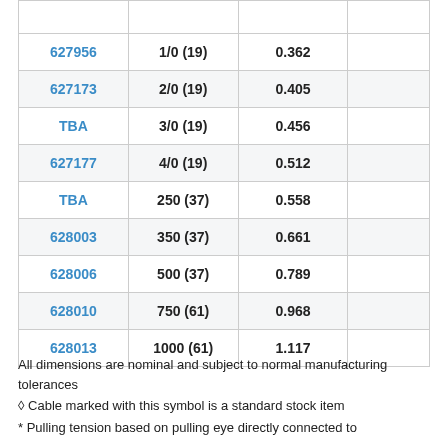|  |  |  |  |
| --- | --- | --- | --- |
| 627956 | 1/0 (19) | 0.362 |  |
| 627173 | 2/0 (19) | 0.405 |  |
| TBA | 3/0 (19) | 0.456 |  |
| 627177 | 4/0 (19) | 0.512 |  |
| TBA | 250 (37) | 0.558 |  |
| 628003 | 350 (37) | 0.661 |  |
| 628006 | 500 (37) | 0.789 |  |
| 628010 | 750 (61) | 0.968 |  |
| 628013 | 1000 (61) | 1.117 |  |
All dimensions are nominal and subject to normal manufacturing tolerances
◊ Cable marked with this symbol is a standard stock item
* Pulling tension based on pulling eye directly connected to conductor